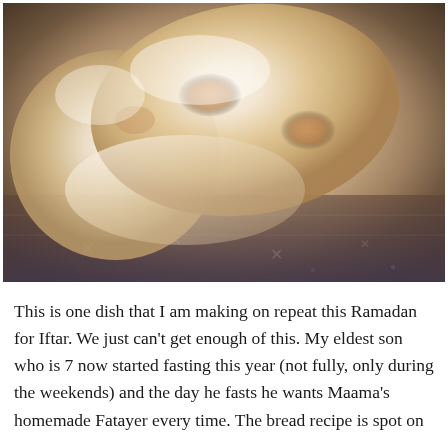[Figure (photo): A close-up photo of homemade Fatayer (Middle Eastern stuffed pastries/bread) on a decorative patterned fabric or surface. The bread pieces are pale golden-white with some browned spots, folded or half-open. The background shows a dark patterned textile.]
This is one dish that I am making on repeat this Ramadan for Iftar. We just can't get enough of this. My eldest son who is 7 now started fasting this year (not fully, only during the weekends) and the day he fasts he wants Maama's homemade Fatayer every time. The bread recipe is spot on